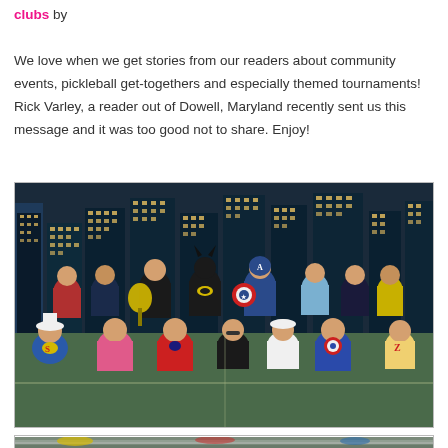clubs by
We love when we get stories from our readers about community events, pickleball get-togethers and especially themed tournaments! Rick Varley, a reader out of Dowell, Maryland recently sent us this message and it was too good not to share. Enjoy!
[Figure (photo): Group photo of pickleball players in superhero costumes (Batman, Captain America, Superman, Spider-Man) in front of a cityscape backdrop on a pickleball court]
[Figure (photo): Partial view of a second photo, cropped at bottom of page, showing a pickleball scene]